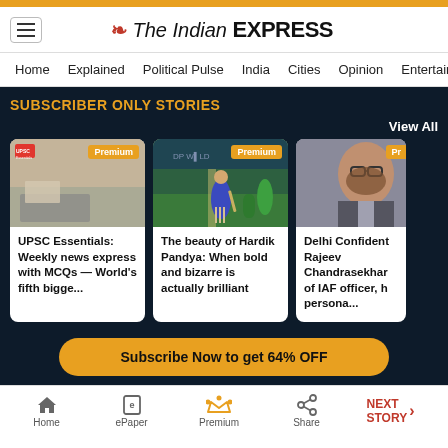The Indian EXPRESS
Home  Explained  Political Pulse  India  Cities  Opinion  Entertainment
SUBSCRIBER ONLY STORIES
View All
[Figure (photo): UPSC study materials with laptop]
Premium
UPSC Essentials: Weekly news express with MCQs — World's fifth bigge...
[Figure (photo): Cricket match with Hardik Pandya batting]
Premium
The beauty of Hardik Pandya: When bold and bizarre is actually brilliant
[Figure (photo): Rajeev Chandrasekhar portrait photo]
Pr
Delhi Confident Rajeev Chandrasekhar of IAF officer, h persona...
Subscribe Now to get 64% OFF
Home  ePaper  Premium  Share  NEXT STORY